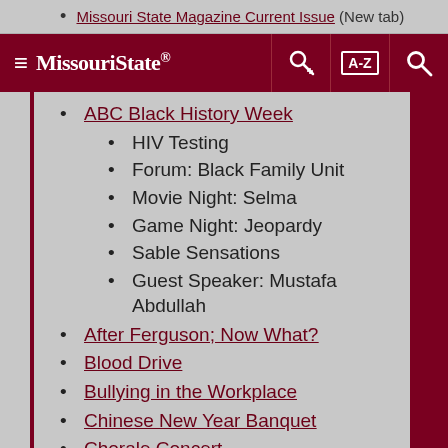Missouri State Magazine Current Issue (New tab)
Missouri State — Navigation bar with hamburger menu, key icon, A-Z index, and search
ABC Black History Week
HIV Testing
Forum: Black Family Unit
Movie Night: Selma
Game Night: Jeopardy
Sable Sensations
Guest Speaker: Mustafa Abdullah
After Ferguson; Now What?
Blood Drive
Bullying in the Workplace
Chinese New Year Banquet
Chorale Concert
Explore PSU
Graphic Design Area